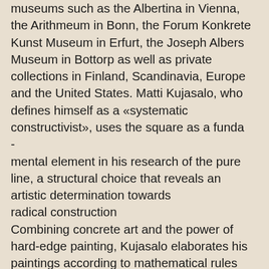museums such as the Albertina in Vienna, the Arithmeum in Bonn, the Forum Konkrete Kunst Museum in Erfurt, the Joseph Albers Museum in Bottorp as well as private collections in Finland, Scandinavia, Europe and the United States. Matti Kujasalo, who defines himself as a «systematic constructivist», uses the square as a funda-
mental element in his research of the pure line, a structural choice that reveals an artistic determination towards
radical construction
Combining concrete art and the power of hard-edge painting, Kujasalo elaborates his paintings according to mathematical rules based on the possibilities of division of the square grid, an exploration he shares notably with some of the major representatives of Swiss constructed art.
The realization of his works is so perfect that one could think it is a digital technique. In reality, Matti Kujasalo paints directly on his canvas, using a meticulous technique based on adhesive tapes that overlap along increa-
singly sophisticated paths as time goes by. Once the tapes have disappeared, the superposition of paint layers